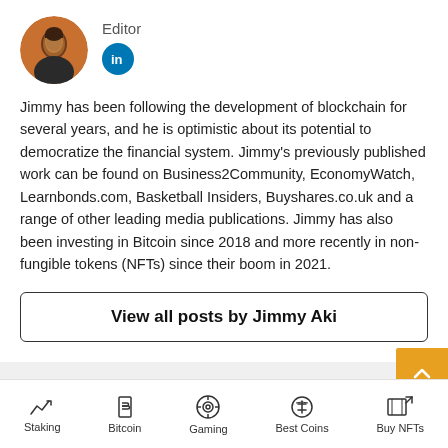[Figure (photo): Circular avatar photo of a person wearing a dark jacket, against an orange background]
Editor
[Figure (logo): LinkedIn logo badge - blue circle with 'in' in white]
Jimmy has been following the development of blockchain for several years, and he is optimistic about its potential to democratize the financial system. Jimmy's previously published work can be found on Business2Community, EconomyWatch, Learnbonds.com, Basketball Insiders, Buyshares.co.uk and a range of other leading media publications. Jimmy has also been investing in Bitcoin since 2018 and more recently in non-fungible tokens (NFTs) since their boom in 2021.
View all posts by Jimmy Aki
Read next
Staking | Bitcoin | Gaming | Best Coins | Buy NFTs